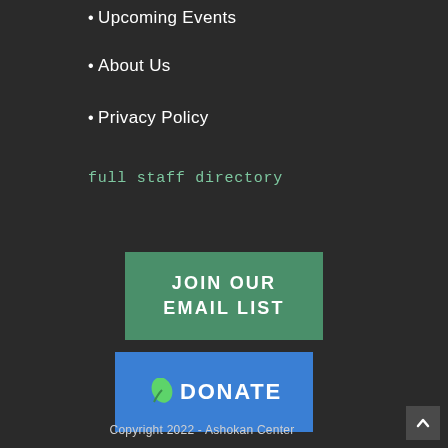Upcoming Events
About Us
Privacy Policy
full staff directory
[Figure (other): Green button with text JOIN OUR EMAIL LIST]
[Figure (other): Blue button with green leaf icon and text DONATE]
Copyright 2022 - Ashokan Center